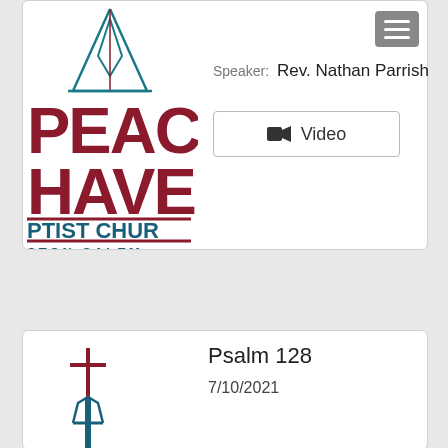[Figure (logo): Peace Haven Baptist Church Winston-Salem partial logo showing teal steeple graphic with dark red PEAC / HAVE / PTIST CHUR text and STON-SALEM text]
Speaker:  Rev. Nathan Parrish
Video
[Figure (logo): Small church steeple/cross logo in teal and dark red]
Psalm 128
7/10/2021